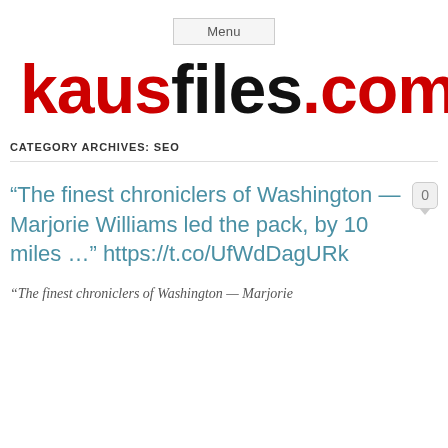Menu
kausfiles.com
CATEGORY ARCHIVES: SEO
“The finest chroniclers of Washington — Marjorie Williams led the pack, by 10 miles ...” https://t.co/UfWdDagURk
“The finest chroniclers of Washington — Marjorie